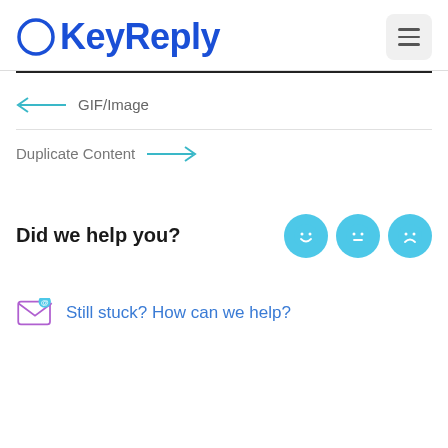KeyReply
← GIF/Image
Duplicate Content →
Did we help you?
Still stuck? How can we help?